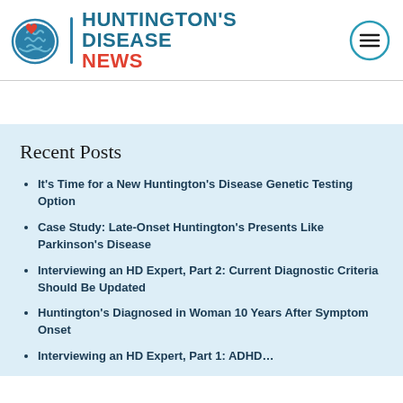HUNTINGTON'S DISEASE NEWS
Recent Posts
It's Time for a New Huntington's Disease Genetic Testing Option
Case Study: Late-Onset Huntington's Presents Like Parkinson's Disease
Interviewing an HD Expert, Part 2: Current Diagnostic Criteria Should Be Updated
Huntington's Diagnosed in Woman 10 Years After Symptom Onset
Interviewing an HD Expert, Part 1: ADHD…